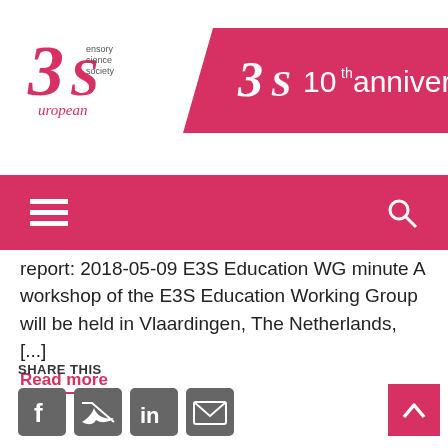[Figure (logo): European Sensory Science Society (E3S) logo with stylized '3S' text and 'european' wordmark]
[Figure (logo): E3S 10th anniversary banner with pink/red diagonal background, '3S' logo and '10th anniversary' text]
[Figure (infographic): Pink navigation bar with hamburger menu icon on left and search icon on right]
report: 2018-05-09 E3S Education WG minute A workshop of the E3S Education Working Group will be held in Vlaardingen, The Netherlands, [...]
Read more
SHARE THIS
[Figure (infographic): Social share icons: Facebook, Twitter, LinkedIn, Email]